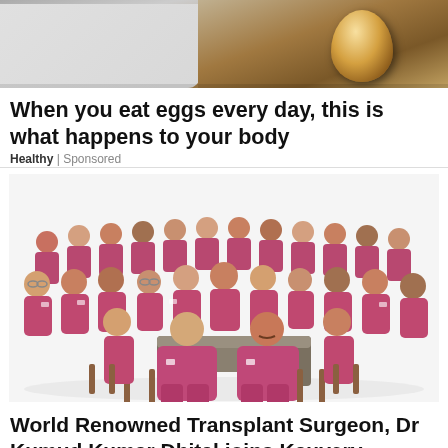[Figure (photo): Top portion of an ad showing eggs on a plate with gradient background]
When you eat eggs every day, this is what happens to your body
Healthy | Sponsored
[Figure (photo): Group photo of medical team wearing pink/mauve scrubs, approximately 25 people arranged in rows with two senior doctors seated in center]
World Renowned Transplant Surgeon, Dr Kumud Kumar Dhital joins Kauvery Hospital to lead the